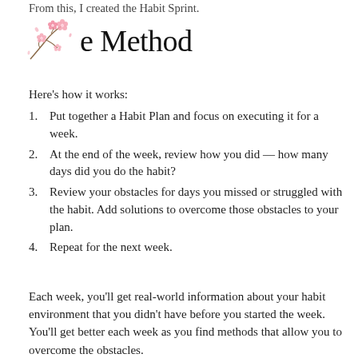From this, I created the Habit Sprint.
The Method
Here's how it works:
Put together a Habit Plan and focus on executing it for a week.
At the end of the week, review how you did — how many days did you do the habit?
Review your obstacles for days you missed or struggled with the habit. Add solutions to overcome those obstacles to your plan.
Repeat for the next week.
Each week, you'll get real-world information about your habit environment that you didn't have before you started the week. You'll get better each week as you find methods that allow you to overcome the obstacles.